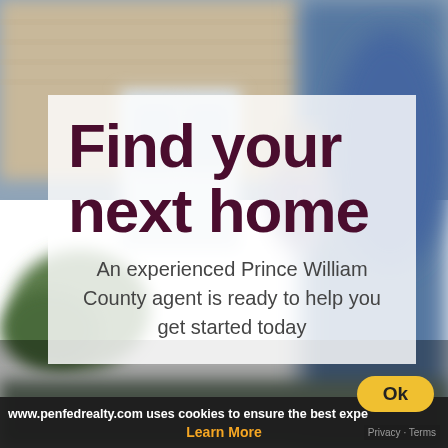[Figure (photo): Blurred background photo of a house exterior with a person at the doorway]
Find your next home
An experienced Prince William County agent is ready to help you get started today
www.penfedrealty.com uses cookies to ensure the best expe
Learn More
Ok